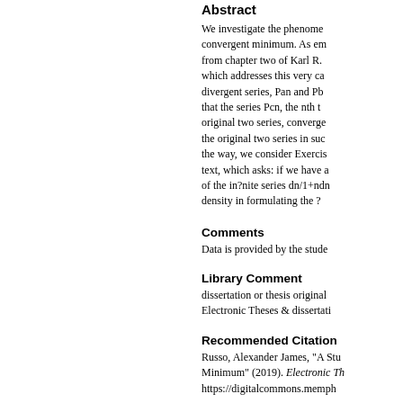Abstract
We investigate the phenomenon of convergent minimum. As em from chapter two of Karl R. which addresses this very ca divergent series, Pan and Pb that the series Pcn, the nth t original two series, converge the original two series in suc the way, we consider Exercis text, which asks: if we have a of the in?nite series dn/1+ndn density in formulating the ?
Comments
Data is provided by the stude
Library Comment
dissertation or thesis original Electronic Theses & dissertati
Recommended Citation
Russo, Alexander James, "A Stu Minimum" (2019). Electronic Th https://digitalcommons.memph